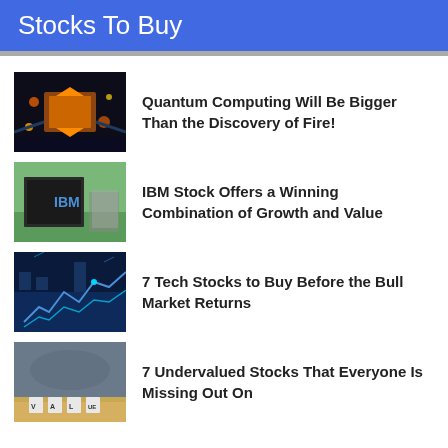Stocks To Buy
Quantum Computing Will Be Bigger Than the Discovery of Fire!
IBM Stock Offers a Winning Combination of Growth and Value
7 Tech Stocks to Buy Before the Bull Market Returns
7 Undervalued Stocks That Everyone Is Missing Out On